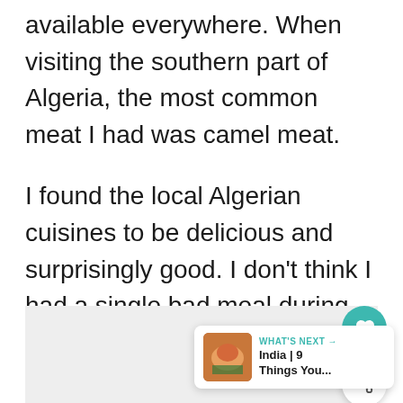available everywhere. When visiting the southern part of Algeria, the most common meat I had was camel meat.

I found the local Algerian cuisines to be delicious and surprisingly good. I don't think I had a single bad meal during my ten days in the country.
[Figure (screenshot): Partial screenshot of a blog page showing a gray image placeholder area with a heart (like) button in teal, a share button in white, and a 'WHAT'S NEXT' widget linking to 'India | 9 Things You...']